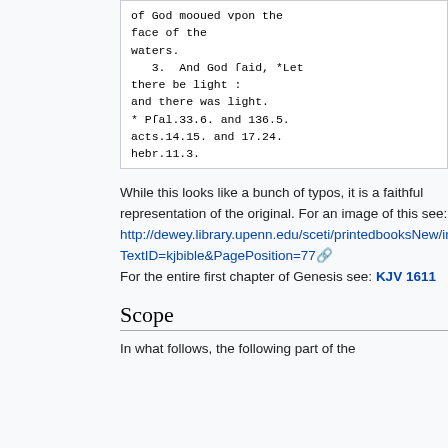of God mooued vpon the face of the waters.
   3.  And God ſaid, *Let there be light :
and there was light.
* Pſal.33.6. and 136.5.
acts.14.15. and 17.24.
hebr.11.3.
While this looks like a bunch of typos, it is a faithful representation of the original. For an image of this see: http://dewey.library.upenn.edu/sceti/printedbooksNew/index.cfm?TextID=kjbible&PagePosition=77 For the entire first chapter of Genesis see: KJV 1611
Scope
In what follows, the following part of the